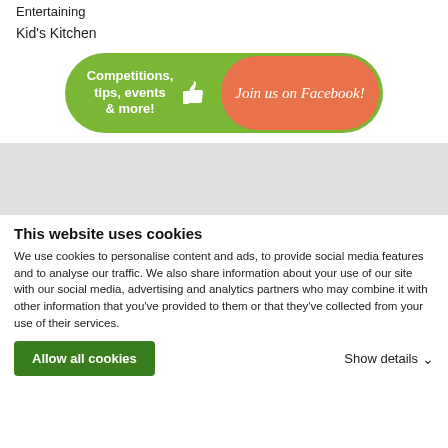Entertaining
Kid's Kitchen
[Figure (infographic): Green rounded banner with text 'Competitions, tips, events & more!' and a thumbs-up icon on the left, and an orange rounded pill on the right with script text 'Join us on Facebook!']
[Figure (other): Gray rectangular band, likely an advertisement or placeholder]
This website uses cookies
We use cookies to personalise content and ads, to provide social media features and to analyse our traffic. We also share information about your use of our site with our social media, advertising and analytics partners who may combine it with other information that you've provided to them or that they've collected from your use of their services.
Allow all cookies
Show details